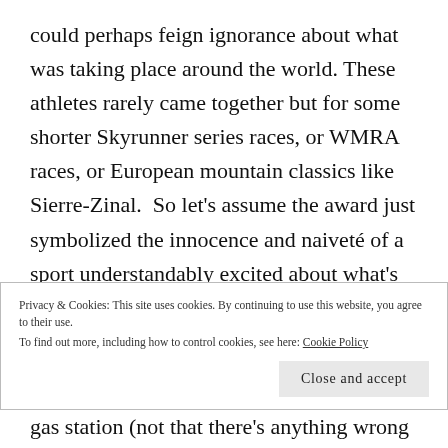could perhaps feign ignorance about what was taking place around the world. These athletes rarely came together but for some shorter Skyrunner series races, or WMRA races, or European mountain classics like Sierre-Zinal. So let's assume the award just symbolized the innocence and naiveté of a sport understandably excited about what's happening in its own backyard. To the point, we're years later, getting much more worldly and mature. Consequently,
Privacy & Cookies: This site uses cookies. By continuing to use this website, you agree to their use.
To find out more, including how to control cookies, see here: Cookie Policy
gas station (not that there's anything wrong with